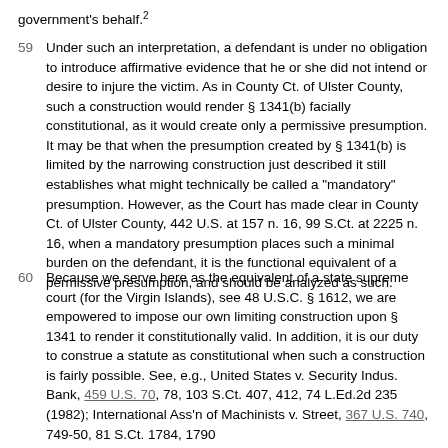government's behalf.2
59 Under such an interpretation, a defendant is under no obligation to introduce affirmative evidence that he or she did not intend or desire to injure the victim. As in County Ct. of Ulster County, such a construction would render § 1341(b) facially constitutional, as it would create only a permissive presumption. It may be that when the presumption created by § 1341(b) is limited by the narrowing construction just described it still establishes what might technically be called a "mandatory" presumption. However, as the Court has made clear in County Ct. of Ulster County, 442 U.S. at 157 n. 16, 99 S.Ct. at 2225 n. 16, when a mandatory presumption places such a minimal burden on the defendant, it is the functional equivalent of a permissive presumption, and should be analyzed as such.
60 Because we serve here as the equivalent of a state supreme court (for the Virgin Islands), see 48 U.S.C. § 1612, we are empowered to impose our own limiting construction upon § 1341 to render it constitutionally valid. In addition, it is our duty to construe a statute as constitutional when such a construction is fairly possible. See, e.g., United States v. Security Indus. Bank, 459 U.S. 70, 78, 103 S.Ct. 407, 412, 74 L.Ed.2d 235 (1982); International Ass'n of Machinists v. Street, 367 U.S. 740, 749-50, 81 S.Ct. 1784, 1790